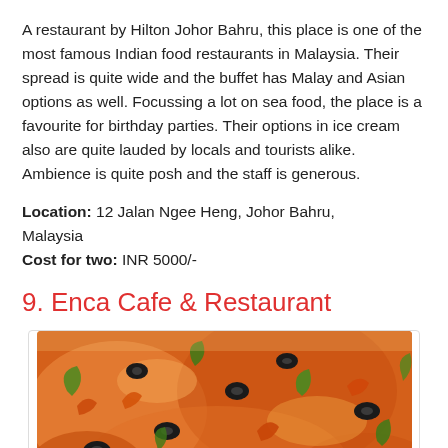A restaurant by Hilton Johor Bahru, this place is one of the most famous Indian food restaurants in Malaysia. Their spread is quite wide and the buffet has Malay and Asian options as well. Focussing a lot on sea food, the place is a favourite for birthday parties. Their options in ice cream also are quite lauded by locals and tourists alike. Ambience is quite posh and the staff is generous.
Location: 12 Jalan Ngee Heng, Johor Bahru, Malaysia
Cost for two: INR 5000/-
9. Enca Cafe & Restaurant
[Figure (photo): Close-up photo of a pizza topped with black olives, shrimp/prawns, arugula/rocket leaves, and melted cheese on a tomato sauce base.]